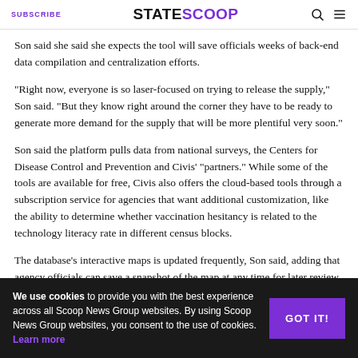SUBSCRIBE | STATESCOOP
Son said she said she expects the tool will save officials weeks of back-end data compilation and centralization efforts.
“Right now, everyone is so laser-focused on trying to release the supply,” Son said. “But they know right around the corner they have to be ready to generate more demand for the supply that will be more plentiful very soon.”
Son said the platform pulls data from national surveys, the Centers for Disease Control and Prevention and Civis’ “partners.” While some of the tools are available for free, Civis also offers the cloud-based tools through a subscription service for agencies that want additional customization, like the ability to determine whether vaccination hesitancy is related to the technology literacy rate in different census blocks.
The database’s interactive maps is updated frequently, Son said, adding that agency officials can save a snapshot of the map at any time for later review.
We use cookies to provide you with the best experience across all Scoop News Group websites. By using Scoop News Group websites, you consent to the use of cookies. Learn more
GOT IT!